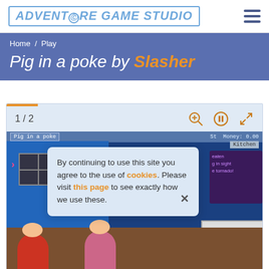Adventure Game Studio
Home / Play
Pig in a poke by Slasher
[Figure (screenshot): Game viewer showing '1 / 2' page counter with zoom, pause, and fullscreen controls, and a game screenshot of 'Pig in a poke' showing a kitchen scene with game HUD. A cookie consent overlay is visible reading: 'By continuing to use this site you agree to the use of cookies. Please visit this page to see exactly how we use these.' with a close (x) button.]